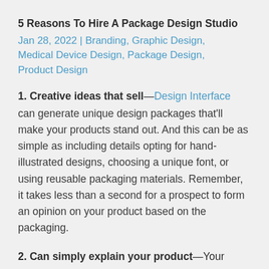5 Reasons To Hire A Package Design Studio
Jan 28, 2022 | Branding, Graphic Design, Medical Device Design, Package Design, Product Design
1. Creative ideas that sell—Design Interface can generate unique design packages that'll make your products stand out. And this can be as simple as including details opting for hand-illustrated designs, choosing a unique font, or using reusable packaging materials. Remember, it takes less than a second for a prospect to form an opinion on your product based on the packaging.
2. Can simply explain your product—Your products might be the same as a